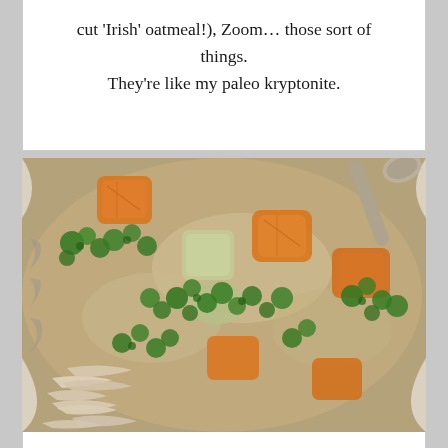cut 'Irish' oatmeal!), Zoom… those sort of things. They're like my paleo kryptonite.
[Figure (photo): Close-up photo of a bowl of homemade chicken soup with shredded chicken, large chunks of orange carrots, green zucchini or celery, garnished with chopped green parsley, in a decorative white bowl with a spoon, on a wooden surface.]
Recipe: Comforting Homemade Chicken Soup